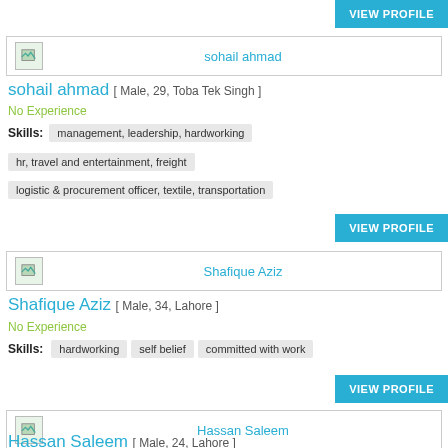VIEW PROFILE
sohail ahmad
sohail ahmad [ Male, 29, Toba Tek Singh ]
No Experience
Skills: management, leadership, hardworking
hr, travel and entertainment, freight
logistic & procurement officer, textile, transportation
VIEW PROFILE
Shafique Aziz
Shafique Aziz [ Male, 34, Lahore ]
No Experience
Skills: hardworking  self belief  committed with work
VIEW PROFILE
Hassan Saleem
Hassan Saleem [ Male, 24, Lahore ]
No Experience